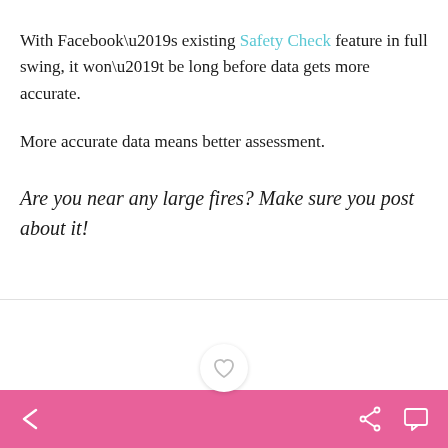With Facebook’s existing Safety Check feature in full swing, it won’t be long before data gets more accurate.
More accurate data means better assessment.
Are you near any large fires? Make sure you post about it!